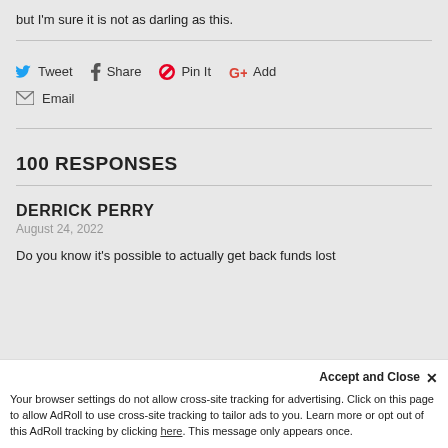but I'm sure it is not as darling as this.
Tweet  Share  Pin It  Add
Email
100 RESPONSES
DERRICK PERRY
August 24, 2022
Do you know it's possible to actually get back funds lost
Accept and Close ✕
Your browser settings do not allow cross-site tracking for advertising. Click on this page to allow AdRoll to use cross-site tracking to tailor ads to you. Learn more or opt out of this AdRoll tracking by clicking here. This message only appears once.